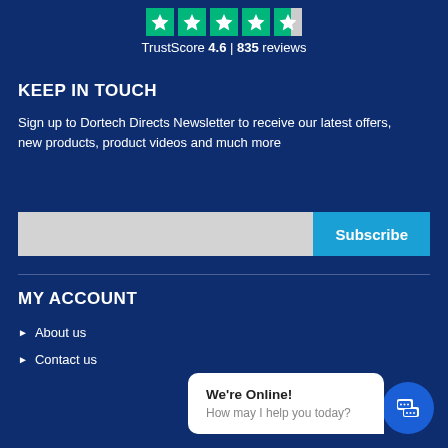[Figure (other): Trustpilot star rating icons row with 5 green star icons, last one partially filled]
TrustScore 4.6 | 835 reviews
KEEP IN TOUCH
Sign up to Dortech Directs Newsletter to receive our latest offers, new products, product videos and much more
[Figure (other): Email subscribe input field with Subscribe button]
MY ACCOUNT
About us
Contact us
[Figure (other): Live chat widget bubble showing 'We're Online! How may I help you today?' with blue chat icon button]